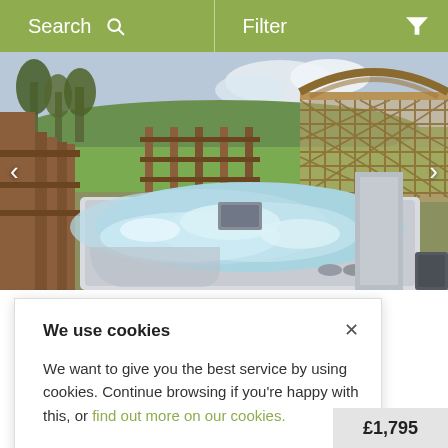Search  Filter
[Figure (photo): Outdoor hot tub with bubbling water, surrounded by wooden decking and lattice fence, green countryside in background]
Brackenburgh
We use cookies
We want to give you the best service by using cookies. Continue browsing if you're happy with this, or find out more on our cookies.
£1,795